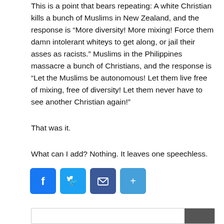This is a point that bears repeating: A white Christian kills a bunch of Muslims in New Zealand, and the response is “More diversity! More mixing! Force them damn intolerant whiteys to get along, or jail their asses as racists.” Muslims in the Philippines massacre a bunch of Christians, and the response is “Let the Muslims be autonomous! Let them live free of mixing, free of diversity! Let them never have to see another Christian again!”
That was it.
What can I add? Nothing. It leaves one speechless.
[Figure (other): Social sharing buttons: Facebook, Twitter, Email, Share]